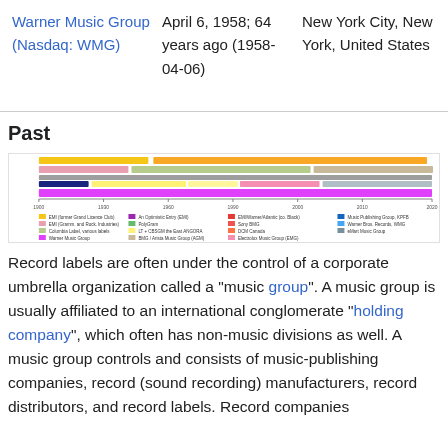| Name | Founded | Headquarters | Parent |
| --- | --- | --- | --- |
| Warner Music Group (Nasdaq: WMG) | April 6, 1958; 64 years ago (1958-04-06) | New York City, New York, United States | Warner Music Group labels |
Past
[Figure (infographic): Timeline chart showing history of major music groups and record labels from approximately 1900s to 2020s, with colored horizontal bars representing different companies including WMG, Universal Music Group, Sony BMG, EMI, and others.]
Record labels are often under the control of a corporate umbrella organization called a "music group". A music group is usually affiliated to an international conglomerate "holding company", which often has non-music divisions as well. A music group controls and consists of music-publishing companies, record (sound recording) manufacturers, record distributors, and record labels. Record companies